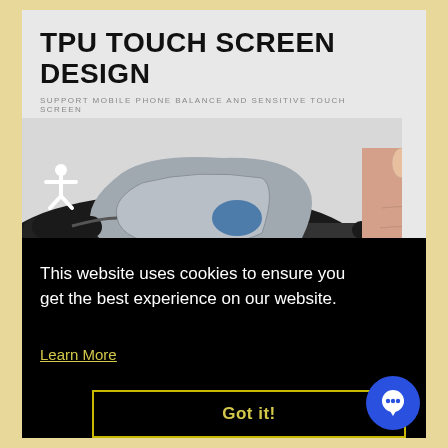TPU TOUCH SCREEN DESIGN
SUPPORT MOBILE PHONE BALANCE AND SENSITIVE TOUCH SCREEN
[Figure (photo): Close-up photo of a bicycle handlebar with a phone mount bag, and a finger pointing to touch the screen on the right side]
This website uses cookies to ensure you get the best experience on our website.
Learn More
Got it!